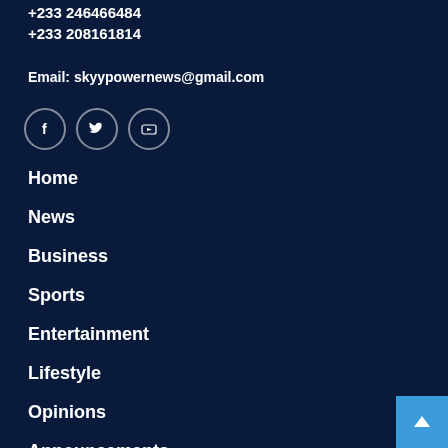+233 246466484
+233 208161814
Email: skyypowernews@gmail.com
[Figure (illustration): Three social media icons in circles: Facebook (f), Twitter (bird), YouTube (play button)]
Home
News
Business
Sports
Entertainment
Lifestyle
Opinions
Announcements